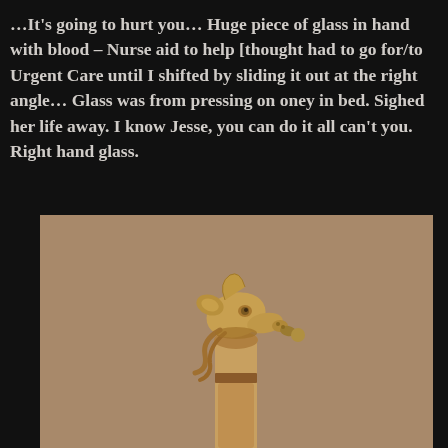…It's going to hurt you… Huge piece of glass in hand with blood – Nurse aid to help [thought had to go for/to Urgent Care until I shifted by sliding it out at the right angle… Glass was from pressing on oney in bed. Sighed her life away. I know Jesse, you can do it all can't you. Right hand glass.
[Figure (photo): A carved wooden cane handle in the shape of a dog or dragon head, tan/golden brown color, against a brownish-tan background.]